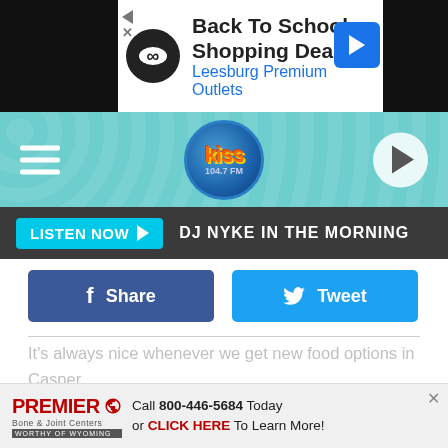[Figure (screenshot): Advertisement banner: Back To School Shopping Deals, Leesburg Premium Outlets]
[Figure (logo): Kiss 104.7 FM radio station header with hamburger menu, logo, and play button]
[Figure (screenshot): Listen Now bar with DJ Nyke In The Morning label]
[Figure (screenshot): Facebook Share and Twitter Tweet social sharing buttons]
It's always nice whenever we get new food options in Casper and since it is the season for good barbecue, the timing couldn't be anymore perfect.
TOP 23 BEST PLACES TO GET A HAMBURGER IN CASPER
[Figure (screenshot): Premier Bone & Joint Centers advertisement: Call 800-446-5684 Today or CLICK HERE To Learn More!]